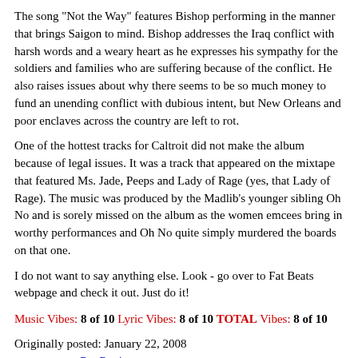The song "Not the Way" features Bishop performing in the manner that brings Saigon to mind. Bishop addresses the Iraq conflict with harsh words and a weary heart as he expresses his sympathy for the soldiers and families who are suffering because of the conflict. He also raises issues about why there seems to be so much money to fund an unending conflict with dubious intent, but New Orleans and poor enclaves across the country are left to rot.
One of the hottest tracks for Caltroit did not make the album because of legal issues. It was a track that appeared on the mixtape that featured Ms. Jade, Peeps and Lady of Rage (yes, that Lady of Rage). The music was produced by the Madlib's younger sibling Oh No and is sorely missed on the album as the women emcees bring in worthy performances and Oh No quite simply murdered the boards on that one.
I do not want to say anything else. Look - go over to Fat Beats webpage and check it out. Just do it!
Music Vibes: 8 of 10 Lyric Vibes: 8 of 10 TOTAL Vibes: 8 of 10
Originally posted: January 22, 2008
source: www.RapReviews.com